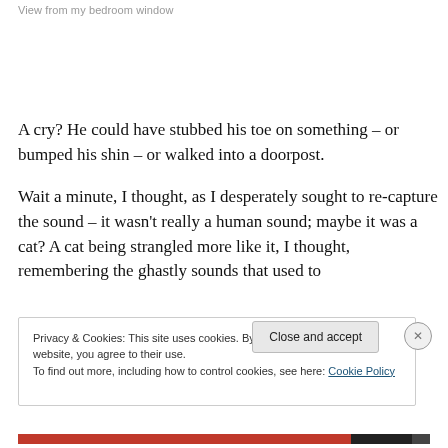View from my bedroom window
A cry?  He could have stubbed his toe on something – or bumped his shin – or walked into a doorpost.
Wait a minute, I thought, as I desperately sought to re-capture the sound – it wasn't really a human sound; maybe it was a cat? A cat being strangled more like it, I thought, remembering the ghastly sounds that used to
Privacy & Cookies: This site uses cookies. By continuing to use this website, you agree to their use.
To find out more, including how to control cookies, see here: Cookie Policy
Close and accept